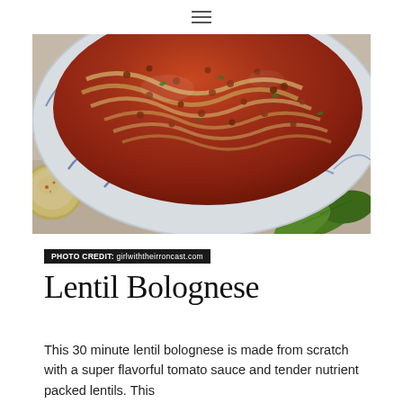≡
[Figure (photo): Overhead photo of a blue-rimmed ceramic bowl filled with lentil bolognese pasta with tomato sauce, lentils, and basil leaves. A small cream-colored bowl and a beige cloth napkin are visible in the background. Fresh basil leaves in the lower right corner.]
PHOTO CREDIT: girlwiththeirroncast.com
Lentil Bolognese
This 30 minute lentil bolognese is made from scratch with a super flavorful tomato sauce and tender nutrient packed lentils. This